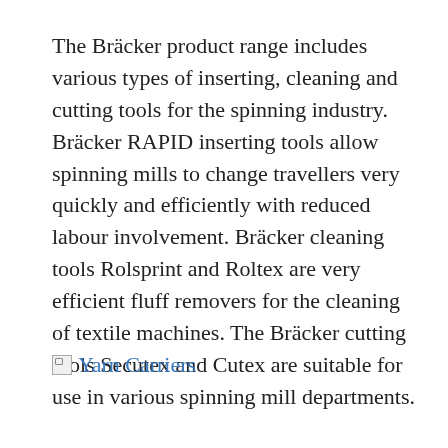The Bräcker product range includes various types of inserting, cleaning and cutting tools for the spinning industry. Bräcker RAPID inserting tools allow spinning mills to change travellers very quickly and efficiently with reduced labour involvement. Bräcker cleaning tools Rolsprint and Roltex are very efficient fluff removers for the cleaning of textile machines. The Bräcker cutting tools Secutex and Cutex are suitable for use in various spinning mill departments.
Yarn Carriers